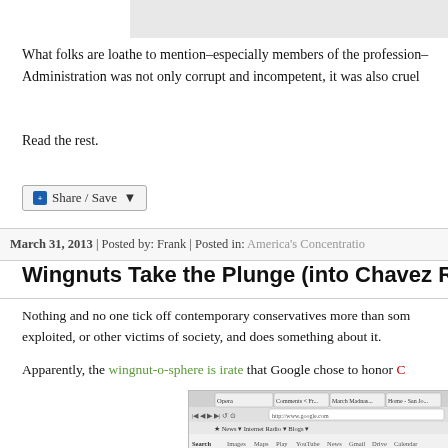[Figure (other): Gray bar at top of page]
What folks are loathe to mention–especially members of the profession– Administration was not only corrupt and incompetent, it was also cruel
Read the rest.
[Figure (other): Share/Save button widget]
March 31, 2013 | Posted by: Frank | Posted in: America's Concentratio
Wingnuts Take the Plunge (into Chavez R
Nothing and no one tick off contemporary conservatives more than som exploited, or other victims of society, and does something about it.
Apparently, the wingnut-o-sphere is irate that Google chose to honor C
[Figure (screenshot): Screenshot of Google homepage in Opera browser with multiple tabs visible]